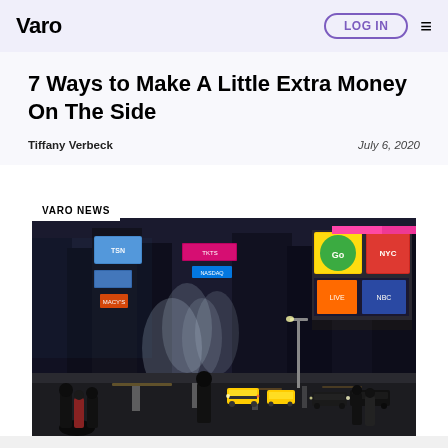Varo | LOG IN
7 Ways to Make A Little Extra Money On The Side
Tiffany Verbeck    July 6, 2020
[Figure (photo): Night time photo of Times Square in New York City with crowds, yellow taxis, and bright neon billboard signs. Tag overlay reads 'VARO NEWS'.]